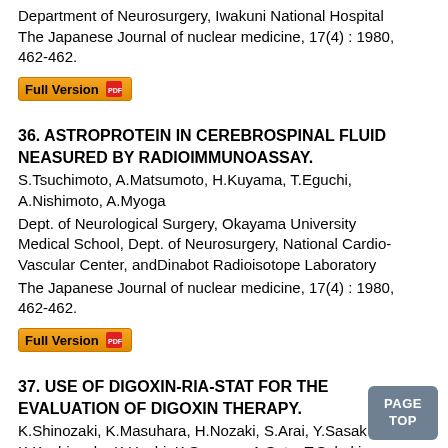Department of Neurosurgery, Iwakuni National Hospital
The Japanese Journal of nuclear medicine, 17(4) : 1980, 462-462.
[Figure (other): Full Version button with PDF icon]
36. ASTROPROTEIN IN CEREBROSPINAL FLUID NEASURED BY RADIOIMMUNOASSAY.
S.Tsuchimoto, A.Matsumoto, H.Kuyama, T.Eguchi, A.Nishimoto, A.Myoga
Dept. of Neurological Surgery, Okayama University Medical School, Dept. of Neurosurgery, National Cardio-Vascular Center, andDinabot Radioisotope Laboratory
The Japanese Journal of nuclear medicine, 17(4) : 1980, 462-462.
[Figure (other): Full Version button with PDF icon]
37. USE OF DIGOXIN-RIA-STAT FOR THE EVALUATION OF DIGOXIN THERAPY.
K.Shinozaki, K.Masuhara, H.Nozaki, S.Arai, Y.Sasaki, K.Kashiwada, K.Hoshi, K.Someya, A.Sato, T.Sakaki